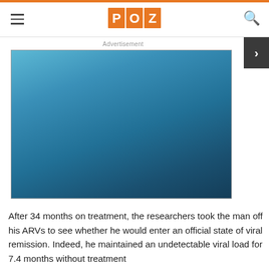POZ
Advertisement
[Figure (other): Blue gradient advertisement placeholder block]
After 34 months on treatment, the researchers took the man off his ARVs to see whether he would enter an official state of viral remission. Indeed, he maintained an undetectable viral load for 7.4 months without treatment